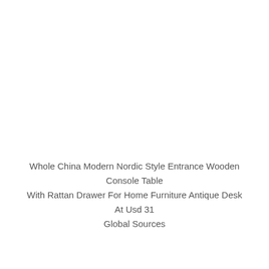Whole China Modern Nordic Style Entrance Wooden Console Table With Rattan Drawer For Home Furniture Antique Desk At Usd 31 Global Sources